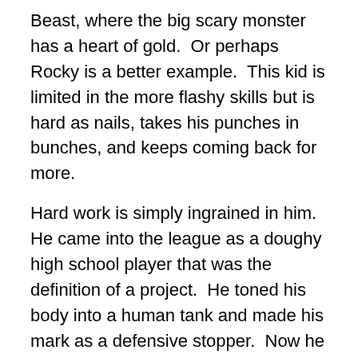Beast, where the big scary monster has a heart of gold.  Or perhaps Rocky is a better example.  This kid is limited in the more flashy skills but is hard as nails, takes his punches in bunches, and keeps coming back for more.
Hard work is simply ingrained in him.  He came into the league as a doughy high school player that was the definition of a project.  He toned his body into a human tank and made his mark as a defensive stopper.  Now he has (rightly) earned the reputation as the guy who plays the best man-to-man defense on Dwight Howard.  He was so effective, in fact, that he allowed Doc the luxury of single covering Howard while the rest of the team stayed at home on their own assignments - significantly limiting the Magic's game-plan and effectiveness.  Note: He has a similar effect on the